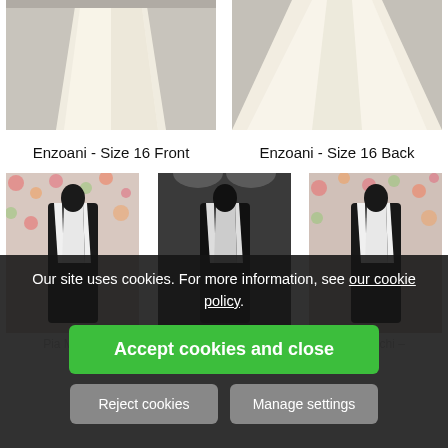[Figure (photo): Wedding dress front view, ivory/cream color, Enzoani size 16]
[Figure (photo): Wedding dress back view, ivory/cream color, Enzoani size 16]
Enzoani - Size 16 Front
Enzoani - Size 16 Back
[Figure (photo): Black and white dress on mannequin with floral background - Pia Michi]
[Figure (photo): Black dress on mannequin in dark setting - 0092]
[Figure (photo): Black and white dress on mannequin with floral background - Pia Michi]
Our site uses cookies. For more information, see our cookie policy.
Accept cookies and close
Reject cookies
Manage settings
Pia Michi –
0092-
Pia Michi –